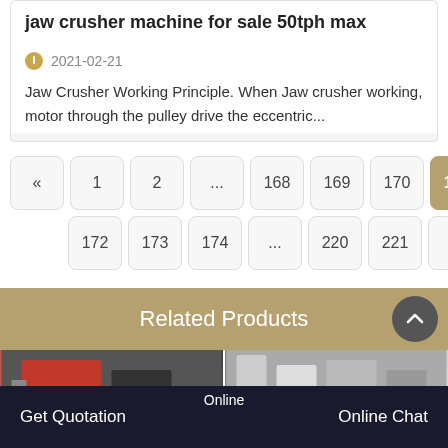jaw crusher machine for sale 50tph max
2021-02-21
Jaw Crusher Working Principle. When Jaw crusher working, motor through the pulley drive the eccentric...
« 1 2 ... 168 169 170 171 172 173 174 ... 220 221 »
Related Products
[Figure (photo): Two product images showing jaw crusher machines]
Get Quotation | Online | Online Chat